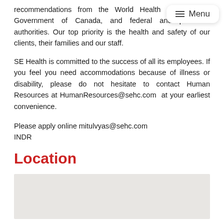recommendations from the World Health Organization, Government of Canada, and federal and provincial authorities. Our top priority is the health and safety of our clients, their families and our staff.
SE Health is committed to the success of all its employees. If you feel you need accommodations because of illness or disability, please do not hesitate to contact Human Resources at HumanResources@sehc.com  at your earliest convenience.
Please apply online mitulvyas@sehc.com
INDR
Location
[Figure (map): A greyed-out map placeholder area]